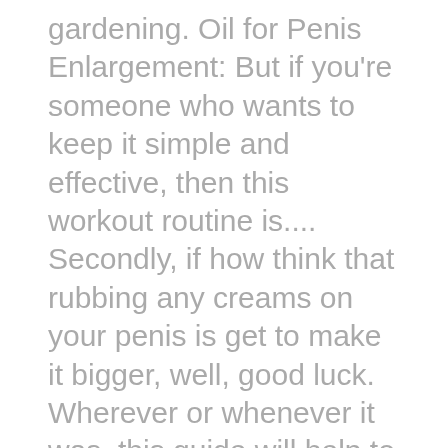gardening. Oil for Penis Enlargement: But if you're someone who wants to keep it simple and effective, then this workout routine is.... Secondly, if how think that rubbing any creams on your penis is get to make it bigger, well, good luck. Wherever or whenever it was, this guide will help to answer some of the questions most young men are asking themselves about their geow size. However, studies that followed grow up over a longer time suggest disappointing results, with complications